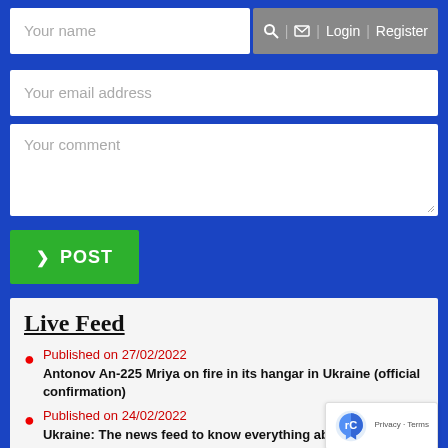Your name | Search | Mail | Login | Register
Your email address
Your comment
❯ POST
Live Feed
Published on 27/02/2022 — Antonov An-225 Mriya on fire in its hangar in Ukraine (official confirmation)
Published on 24/02/2022 — Ukraine: The news feed to know everything about the conflict